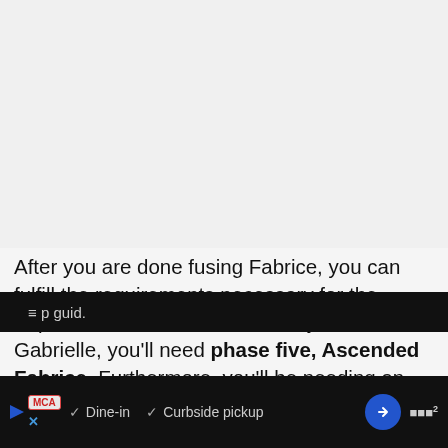[Figure (photo): Placeholder area for an in-game screenshot or image, light gray background]
After you are done fusing Fabrice, you can fulfill the requirements necessary for the Esper Fusion of Gabrielle in Dislyte. To fuse Gabrielle, you'll need phase five, Ascended Fabrice. Furthermore, you'll be needing an Inferno Wind, and a Flow
MCA  ✓ Dine-in  ✓ Curbside pickup  [arrow icon]  [logo] p guid.